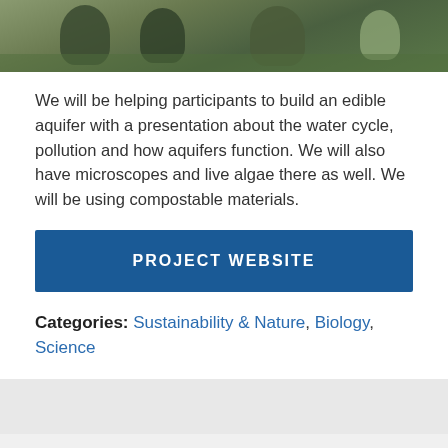[Figure (photo): Photo of people outdoors, likely at a nature or science education event, with green vegetation in background]
We will be helping participants to build an edible aquifer with a presentation about the water cycle, pollution and how aquifers function. We will also have microscopes and live algae there as well. We will be using compostable materials.
PROJECT WEBSITE
Categories: Sustainability & Nature, Biology, Science
MAKER